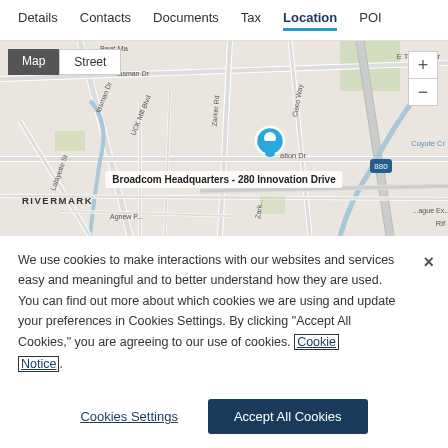Details  Contacts  Documents  Tax  Location  POI
[Figure (map): Street map showing Broadcom Headquarters at 280 Innovation Drive, San Jose CA area, with surrounding streets including E Tasman Dr, Zarker Rd, Cisco Way, Coyote Creek, and highway 880. Blue location pin marks the site. Map/Street toggle and zoom +/- controls visible.]
We use cookies to make interactions with our websites and services easy and meaningful and to better understand how they are used. You can find out more about which cookies we are using and update your preferences in Cookies Settings. By clicking “Accept All Cookies,” you are agreeing to our use of cookies. Cookie Notice.
Cookies Settings
Accept All Cookies